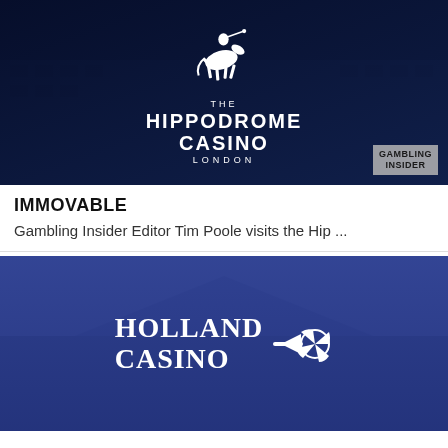[Figure (photo): The Hippodrome Casino London promotional image with dark blue night scene of a building exterior, featuring white horse and rider logo, text 'THE HIPPODROME CASINO LONDON', and Gambling Insider badge in bottom right corner.]
IMMOVABLE
Gambling Insider Editor Tim Poole visits the Hip ...
[Figure (photo): Holland Casino promotional image with blue-tinted building exterior background and white Holland Casino logo with stylized wheel/fan icon.]